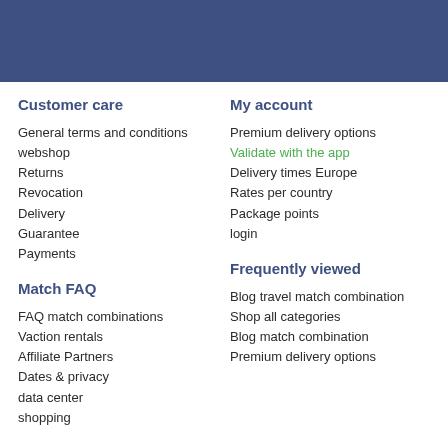Customer care
General terms and conditions webshop
Returns
Revocation
Delivery
Guarantee
Payments
My account
Premium delivery options
Validate with the app
Delivery times Europe
Rates per country
Package points
login
Match FAQ
FAQ match combinations
Vaction rentals
Affiliate Partners
Dates & privacy
data center
shopping
Frequently viewed
Blog travel match combination
Shop all categories
Blog match combination
Premium delivery options